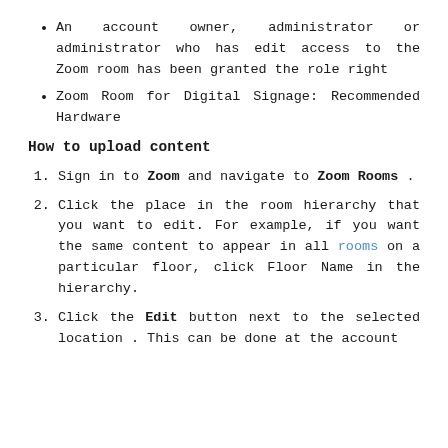An account owner, administrator or administrator who has edit access to the Zoom room has been granted the role right
Zoom Room for Digital Signage: Recommended Hardware
How to upload content
Sign in to Zoom and navigate to Zoom Rooms .
Click the place in the room hierarchy that you want to edit. For example, if you want the same content to appear in all rooms on a particular floor, click Floor Name in the hierarchy.
Click the Edit button next to the selected location . This can be done at the account